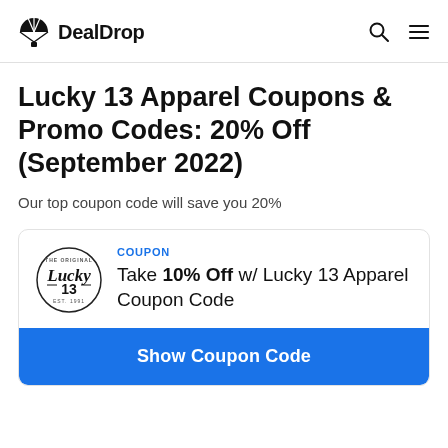DealDrop
Lucky 13 Apparel Coupons & Promo Codes: 20% Off (September 2022)
Our top coupon code will save you 20%
COUPON
Take 10% Off w/ Lucky 13 Apparel Coupon Code
Show Coupon Code